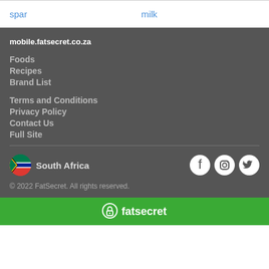spar
milk
mobile.fatsecret.co.za
Foods
Recipes
Brand List
Terms and Conditions
Privacy Policy
Contact Us
Full Site
South Africa
© 2022 FatSecret. All rights reserved.
fatsecret